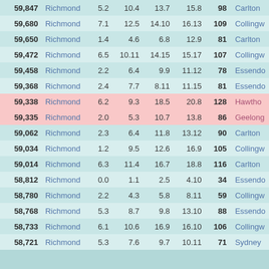| Attendance | Team1 | Q1 | Q2 | Q3 | Final | Score | Team2 |
| --- | --- | --- | --- | --- | --- | --- | --- |
| 59,847 | Richmond | 5.2 | 10.4 | 13.7 | 15.8 | 98 | Carlton |
| 59,680 | Richmond | 7.1 | 12.5 | 14.10 | 16.13 | 109 | Collingw |
| 59,650 | Richmond | 1.4 | 4.6 | 6.8 | 12.9 | 81 | Carlton |
| 59,472 | Richmond | 6.5 | 10.11 | 14.15 | 15.17 | 107 | Collingw |
| 59,458 | Richmond | 2.2 | 6.4 | 9.9 | 11.12 | 78 | Essendo |
| 59,368 | Richmond | 2.4 | 7.7 | 8.11 | 11.15 | 81 | Essendo |
| 59,338 | Richmond | 6.2 | 9.3 | 18.5 | 20.8 | 128 | Hawtho |
| 59,335 | Richmond | 2.0 | 5.3 | 10.7 | 13.8 | 86 | Geelong |
| 59,062 | Richmond | 2.3 | 6.4 | 11.8 | 13.12 | 90 | Carlton |
| 59,034 | Richmond | 1.2 | 9.5 | 12.6 | 16.9 | 105 | Collingw |
| 59,014 | Richmond | 6.3 | 11.4 | 16.7 | 18.8 | 116 | Carlton |
| 58,812 | Richmond | 0.0 | 1.1 | 2.5 | 4.10 | 34 | Essendo |
| 58,780 | Richmond | 2.2 | 4.3 | 5.8 | 8.11 | 59 | Collingw |
| 58,768 | Richmond | 5.3 | 8.7 | 9.8 | 13.10 | 88 | Essendo |
| 58,733 | Richmond | 6.1 | 10.6 | 16.9 | 16.10 | 106 | Collingw |
| 58,721 | Richmond | 5.3 | 7.6 | 9.7 | 10.11 | 71 | Sydney |